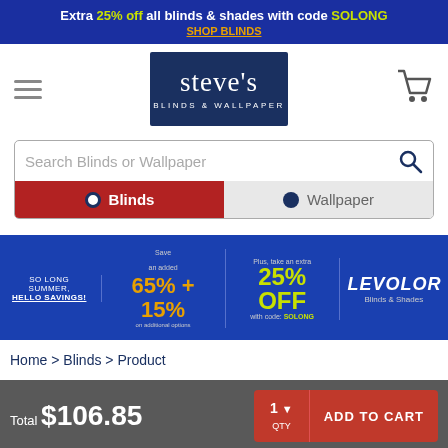Extra 25% off all blinds & shades with code SOLONG SHOP BLINDS
[Figure (logo): Steve's Blinds & Wallpaper logo with hamburger menu and shopping cart icons]
Search Blinds or Wallpaper
[Figure (screenshot): Search bar with Blinds and Wallpaper radio button tabs]
[Figure (infographic): SO LONG SUMMER, HELLO SAVINGS! Save 65% + an added 15% on additional options. Plus, take an extra 25% OFF with code: SOLONG. LEVOLOR Blinds & Shades.]
Home > Blinds > Product
Total $106.85
1 QTY ADD TO CART